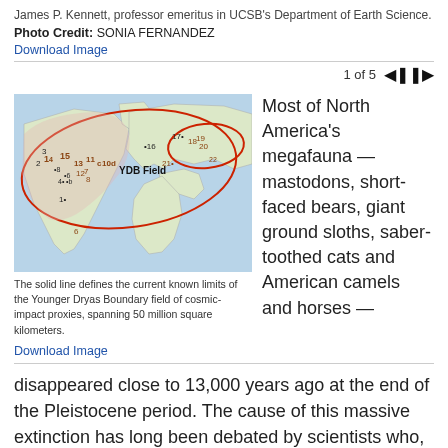James P. Kennett, professor emeritus in UCSB's Department of Earth Science.
Photo Credit: SONIA FERNANDEZ
Download Image
1 of 5
[Figure (map): World map showing the YDB (Younger Dryas Boundary) Field outlined by a solid red line, with numbered site markers across North America, Europe, and the Middle East, spanning approximately 50 million square kilometers.]
The solid line defines the current known limits of the Younger Dryas Boundary field of cosmic-impact proxies, spanning 50 million square kilometers.
Download Image
Most of North America's megafauna — mastodons, short-faced bears, giant ground sloths, saber-toothed cats and American camels and horses —
disappeared close to 13,000 years ago at the end of the Pleistocene period. The cause of this massive extinction has long been debated by scientists who, until recently, could only speculate as to why.